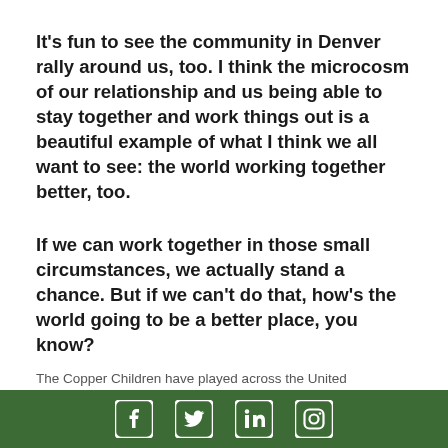It's fun to see the community in Denver rally around us, too. I think the microcosm of our relationship and us being able to stay together and work things out is a beautiful example of what I think we all want to see: the world working together better, too.
If we can work together in those small circumstances, we actually stand a chance. But if we can't do that, how's the world going to be a better place, you know?
The Copper Children have played across the United
Social media icons: Facebook, Twitter, LinkedIn, Instagram